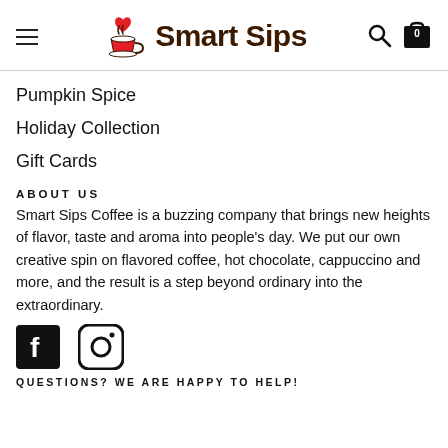Smart Sips
Pumpkin Spice
Holiday Collection
Gift Cards
ABOUT US
Smart Sips Coffee is a buzzing company that brings new heights of flavor, taste and aroma into people's day. We put our own creative spin on flavored coffee, hot chocolate, cappuccino and more, and the result is a step beyond ordinary into the extraordinary.
[Figure (logo): Facebook and Instagram social media icons]
QUESTIONS? WE ARE HAPPY TO HELP!